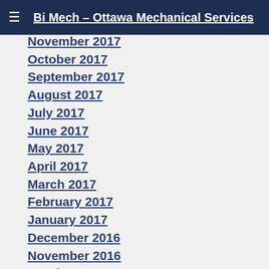Bi Mech - Ottawa Mechanical Services
November 2017
October 2017
September 2017
August 2017
July 2017
June 2017
May 2017
April 2017
March 2017
February 2017
January 2017
December 2016
November 2016
October 2016
September 2016
August 2016
July 2016
June 2016